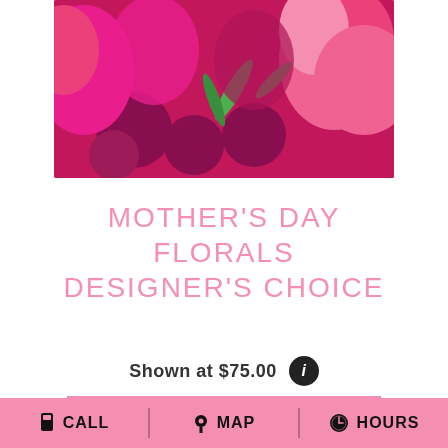[Figure (photo): Pink and magenta floral arrangement photo with 'DAY' text visible in white bold letters at top, showing roses, carnations, and daisy-like flowers]
MOTHER'S DAY FLORALS DESIGNER'S CHOICE
Shown at $75.00
BUY NOW
CALL   MAP   HOURS